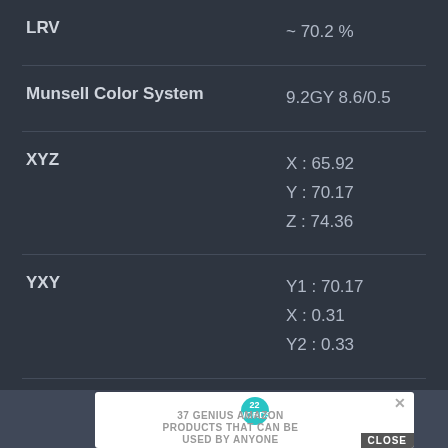| Property | Value |
| --- | --- |
| LRV | ~ 70.2 % |
| Munsell Color System | 9.2GY 8.6/0.5 |
| XYZ | X : 65.92
Y : 70.17
Z : 74.36 |
| YXY | Y1 : 70.17
X : 0.31
Y2 : 0.33 |
| CMY | C : 15.29%
M : 14.12%
Y : 15.69% |
[Figure (screenshot): Advertisement overlay: 22 Words logo, headline '37 GENIUS AMAZON PRODUCTS THAT CAN BE USED BY ANYONE', with a CLOSE button]